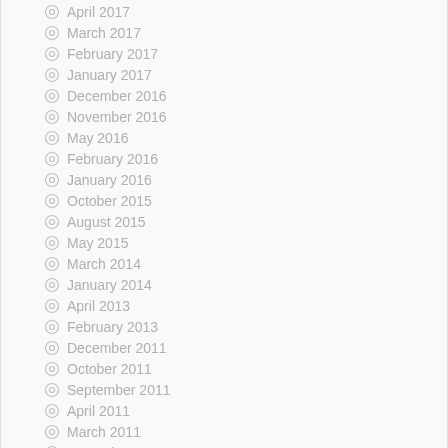April 2017
March 2017
February 2017
January 2017
December 2016
November 2016
May 2016
February 2016
January 2016
October 2015
August 2015
May 2015
March 2014
January 2014
April 2013
February 2013
December 2011
October 2011
September 2011
April 2011
March 2011
December 2010